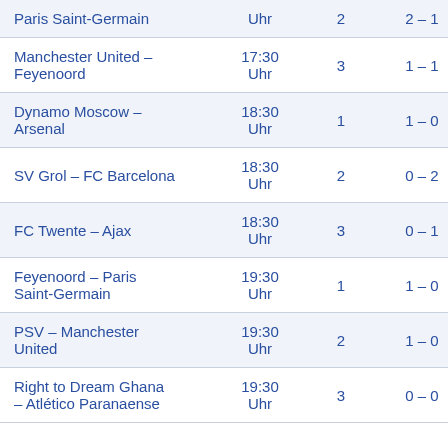| Match | Time | Col3 | Score |
| --- | --- | --- | --- |
| Paris Saint-Germain | Uhr | 2 | 2 – 1 |
| Manchester United – Feyenoord | 17:30 Uhr | 3 | 1 – 1 |
| Dynamo Moscow – Arsenal | 18:30 Uhr | 1 | 1 – 0 |
| SV Grol – FC Barcelona | 18:30 Uhr | 2 | 0 – 2 |
| FC Twente – Ajax | 18:30 Uhr | 3 | 0 – 1 |
| Feyenoord – Paris Saint-Germain | 19:30 Uhr | 1 | 1 – 0 |
| PSV – Manchester United | 19:30 Uhr | 2 | 1 – 0 |
| Right to Dream Ghana – Atlético Paranaense | 19:30 Uhr | 3 | 0 – 0 |